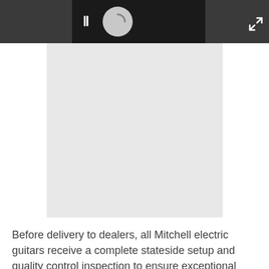[Figure (screenshot): Video player UI with dark gray bar showing pause icon and loading spinner, with expand/fullscreen button in top right corner, and a large light gray panel below representing video content area]
Before delivery to dealers, all Mitchell electric guitars receive a complete stateside setup and quality control inspection to ensure exceptional playability.